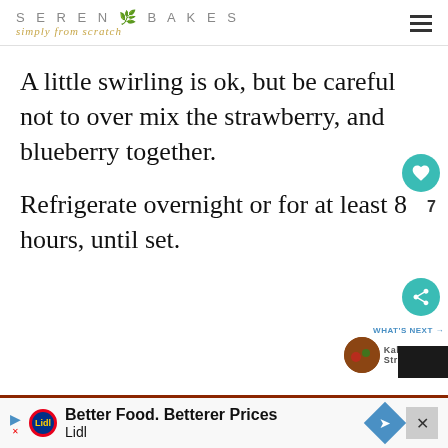SERENA BAKES simply from scratch
A little swirling is ok, but be careful not to over mix the strawberry, and blueberry together.
Refrigerate overnight or for at least 8 hours, until set.